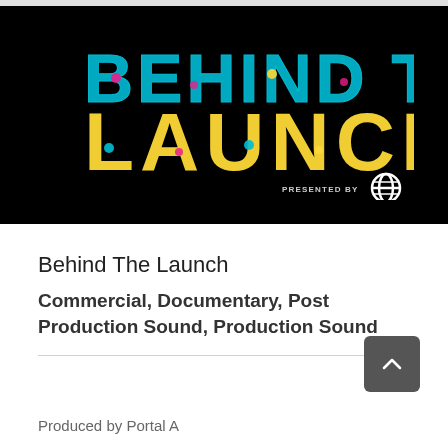[Figure (screenshot): Thumbnail image with black background showing 'BEHIND THE LAUNCH' in colorful pixel/dot-matrix letters (cyan, yellow, pink/magenta), with 'PRESENTED BY' text and Internet Explorer logo in the bottom right corner.]
Behind The Launch
Commercial, Documentary, Post Production Sound, Production Sound
Produced by Portal A